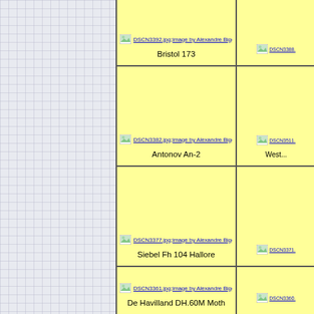[Figure (other): Gallery cell with image DSCN3392.jpg by Alexandre Biggy, aircraft Bristol 173]
Bristol 173
[Figure (other): Gallery cell with image DSCN3388.jpg by Alexandre Biggy (right column, partially visible)]
[Figure (other): Gallery cell with image DSCN3382.jpg by Alexandre Biggy, aircraft Antonov An-2]
Antonov An-2
[Figure (other): Gallery cell with image DSCN3511.jpg by Alexandre Biggy, aircraft West... (partially visible)]
West...
[Figure (other): Gallery cell with image DSCN3377.jpg by Alexandre Biggy, aircraft Siebel Fh 104 Hallore]
Siebel Fh 104 Hallore
[Figure (other): Gallery cell with image DSCN3371.jpg by Alexandre Biggy (right column, partially visible)]
[Figure (other): Gallery cell with image DSCN3361.jpg by Alexandre Biggy, aircraft De Havilland DH.60M Moth]
De Havilland DH.60M Moth
[Figure (other): Gallery cell with image DSCN3360.jpg by Alexandre Biggy (right column, partially visible)]